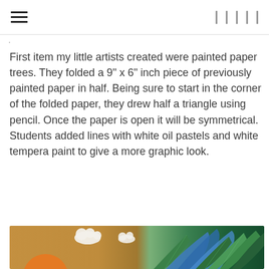navigation bar with hamburger menu and icons
First item my little artists created were painted paper trees. They folded a 9" x 6" inch piece of previously painted paper in half. Being sure to start in the corner of the folded paper, they drew half a triangle using pencil. Once the paper is open it will be symmetrical. Students added lines with white oil pastels and white tempera paint to give a more graphic look.
[Figure (photo): Colorful artwork photo showing painted paper trees with tropical leaves in greens and blues on right side, orange/tan background with white cloud shapes on the left]